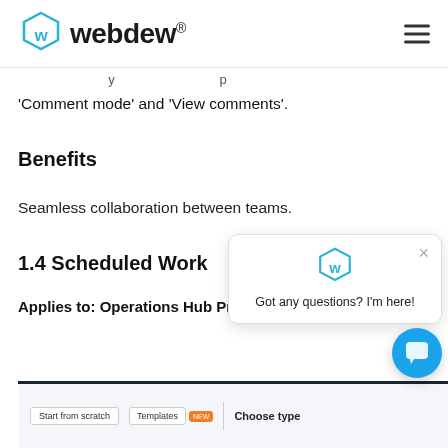webdew®
'Comment mode' and 'View comments'.
Benefits
Seamless collaboration between teams.
1.4 Scheduled Work…
Applies to: Operations Hub Professional, Enterprise
[Figure (screenshot): Screenshot of a web application interface showing 'Start from scratch', 'Templates NEW' buttons and 'Choose type' label.]
[Figure (infographic): Chat popup overlay with webdew logo icon and text 'Got any questions? I'm here!' with a close button, and a blue chat bubble button in bottom right.]